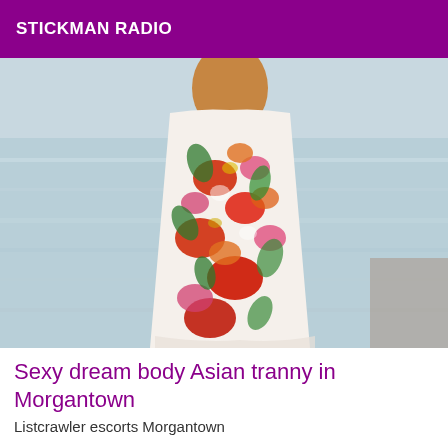STICKMAN RADIO
[Figure (photo): Person standing in shallow ocean water wearing a colorful floral maxi dress/skirt with red, pink, orange and green tropical flowers. The background shows clear shallow blue-green water. The person's torso is partially bare with one hand on hip.]
Sexy dream body Asian tranny in Morgantown
Listcrawler escorts Morgantown